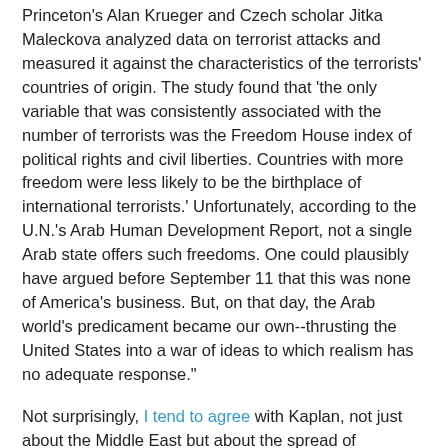Princeton's Alan Krueger and Czech scholar Jitka Maleckova analyzed data on terrorist attacks and measured it against the characteristics of the terrorists' countries of origin. The study found that 'the only variable that was consistently associated with the number of terrorists was the Freedom House index of political rights and civil liberties. Countries with more freedom were less likely to be the birthplace of international terrorists.' Unfortunately, according to the U.N.'s Arab Human Development Report, not a single Arab state offers such freedoms. One could plausibly have argued before September 11 that this was none of America's business. But, on that day, the Arab world's predicament became our own--thrusting the United States into a war of ideas to which realism has no adequate response."
Not surprisingly, I tend to agree with Kaplan, not just about the Middle East but about the spread of democracy and freedom generally. I also tend to take a rather long view